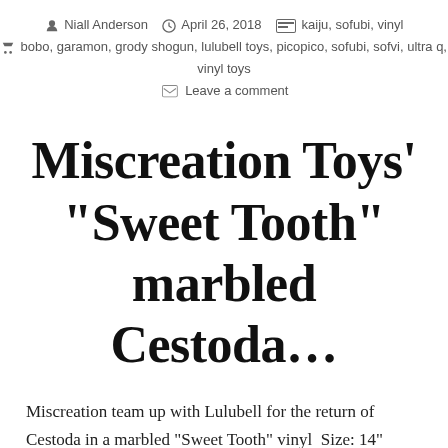Niall Anderson  April 26, 2018  kaiju, sofubi, vinyl  bobo, garamon, grody shogun, lulubell toys, picopico, sofubi, sofvi, ultra q, vinyl toys  Leave a comment
Miscreation Toys' “Sweet Tooth” marbled Cestoda…
Miscreation team up with Lulubell for the return of Cestoda in a marbled “Sweet Tooth” vinyl  Size: 14” Articulation: Over 10 points (TBC) Edition size: TBC Price: